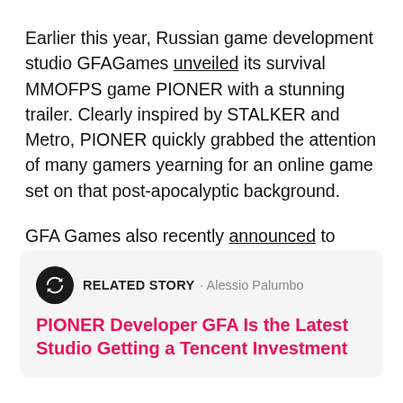Earlier this year, Russian game development studio GFAGames unveiled its survival MMOFPS game PIONER with a stunning trailer. Clearly inspired by STALKER and Metro, PIONER quickly grabbed the attention of many gamers yearning for an online game set on that post-apocalyptic background.
GFA Games also recently announced to have received an investment from Tencent. This should allow PIONER to be completed faster than would have otherwise been possible.
RELATED STORY · Alessio Palumbo
PIONER Developer GFA Is the Latest Studio Getting a Tencent Investment